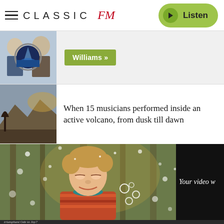Classic FM — Listen
[Figure (screenshot): Classic FM website screenshot showing Jaws embroidery with two men, with Williams category tag]
Williams »
[Figure (photo): Landscape painting of a cliff/volcano scene]
When 15 musicians performed inside an active volcano, from dusk till dawn
[Figure (screenshot): Video player showing a child looking up in a snowy forest scene, with 'Your video w' text partially visible on right]
triumphant Ode to Joy?